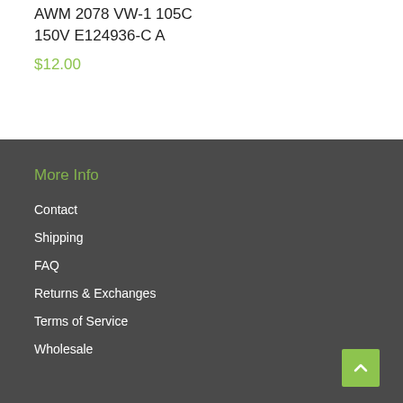AWM 2078 VW-1 105C 150V E124936-C A
$12.00
More Info
Contact
Shipping
FAQ
Returns & Exchanges
Terms of Service
Wholesale